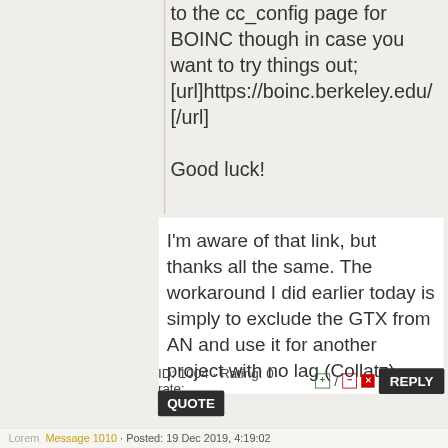to the cc_config page for BOINC though in case you want to try things out; [url]https://boinc.berkeley.edu/ [/url]

Good luck!
I'm aware of that link, but thanks all the same. The workaround I did earlier today is simply to exclude the GTX from AN and use it for another project with no lag (Collatz).
ID: 1004 · Rating: 0 · rate: + / - x
REPLY
QUOTE
Message 1010 · Posted: 19 Dec 2019, 4:19:02